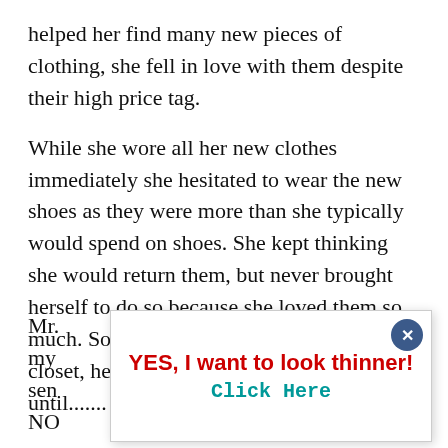helped her find many new pieces of clothing, she fell in love with them despite their high price tag.
While she wore all her new clothes immediately she hesitated to wear the new shoes as they were more than she typically would spend on shoes. She kept thinking she would return them, but never brought herself to do so because she loved them so much. So they remained on the floor of her closet, helpless and neglected. That is until.......
Mr. [partially obscured] my [partially obscured] sen[t partially obscured] NO[partially obscured]
[Figure (screenshot): Popup advertisement overlay with close button (X in dark blue circle), bold red text 'YES, I want to look thinner!' and teal monospace text 'Click Here']